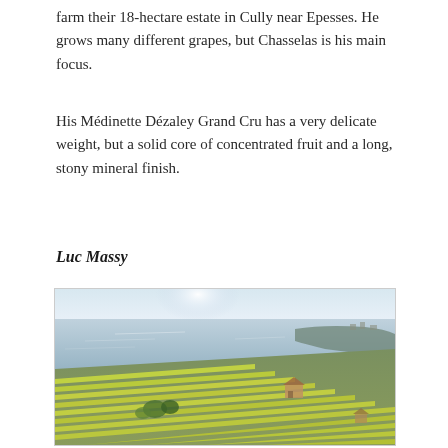farm their 18-hectare estate in Cully near Epesses. He grows many different grapes, but Chasselas is his main focus.
His Médinette Dézaley Grand Cru has a very delicate weight, but a solid core of concentrated fruit and a long, stony mineral finish.
Luc Massy
[Figure (photo): Aerial/hillside view of vineyard terraces on a steep slope overlooking a lake, with bright misty sky and water in the background, green-yellow vine rows in the foreground.]